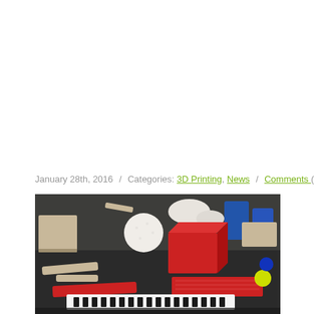January 28th, 2016  /  Categories:  3D Printing,  News  /  Comments (0)
[Figure (photo): A photo of various 3D printed objects arranged on a dark surface. Objects include beige/tan cubes and rods, red cubes and rectangular shapes, a white golf ball, white organic shapes resembling bones, blue cylindrical objects, yellow and blue circular pieces, and a white strip with black raised text letters. The scene appears to be a collection of sample 3D prints in multiple colors and shapes.]